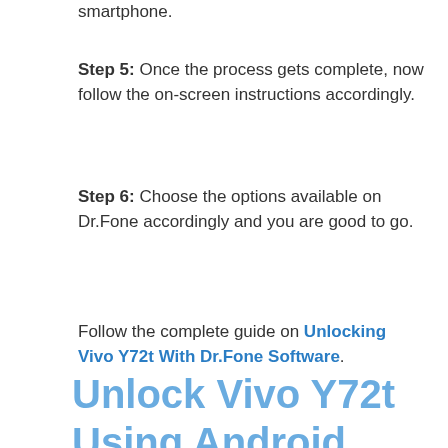smartphone.
Step 5: Once the process gets complete, now follow the on-screen instructions accordingly.
Step 6: Choose the options available on Dr.Fone accordingly and you are good to go.
Follow the complete guide on Unlocking Vivo Y72t With Dr.Fone Software.
Unlock Vivo Y72t Using Android Multi-Tool